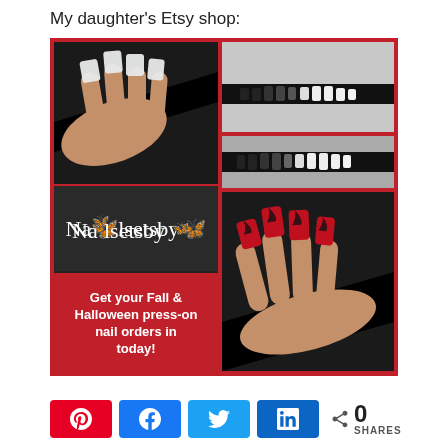My daughter's Etsy shop:
[Figure (photo): Collage of nail art photos: top-left shows a hand with long coffin-shaped light blue/white nails on black background; top-right shows close-up side view of set of black and white artificial nails lined up on black background on grey fur; middle-right shows artificial nails laid out; bottom-left shows Nailsetsby logo with butterfly icon on dark background and red promo text; bottom-right shows hand with long red and black flame/drip design coffin nails]
Get your Fall & Halloween press-on nail orders in today!
[Figure (infographic): Social share buttons bar: Pinterest (red), Facebook (blue), Twitter (light blue), LinkedIn (dark blue), share icon, 0 SHARES count]